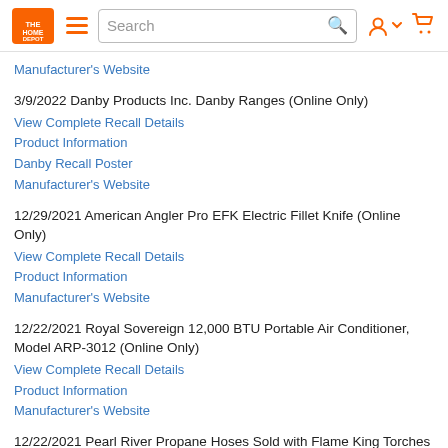The Home Depot - navigation header with search bar
Manufacturer's Website
3/9/2022 Danby Products Inc. Danby Ranges (Online Only)
View Complete Recall Details
Product Information
Danby Recall Poster
Manufacturer's Website
12/29/2021 American Angler Pro EFK Electric Fillet Knife (Online Only)
View Complete Recall Details
Product Information
Manufacturer's Website
12/22/2021 Royal Sovereign 12,000 BTU Portable Air Conditioner, Model ARP-3012 (Online Only)
View Complete Recall Details
Product Information
Manufacturer's Website
12/22/2021 Pearl River Propane Hoses Sold with Flame King Torches and Accessories (Online Only)
View Complete Recall Details